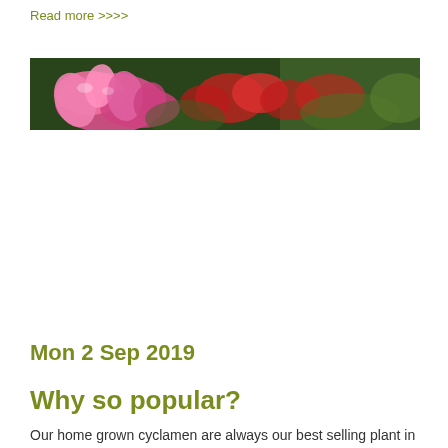Read more >>>>
[Figure (photo): Wide banner photograph of pink and red cyclamen flowers with green foliage in the background, slightly out of focus]
Mon 2 Sep 2019
Why so popular?
Our home grown cyclamen are always our best selling plant in